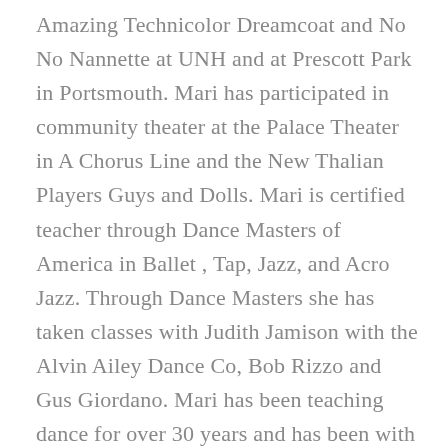Amazing Technicolor Dreamcoat and No No Nannette at UNH and at Prescott Park in Portsmouth. Mari has participated in community theater at the Palace Theater in A Chorus Line and the New Thalian Players Guys and Dolls. Mari is certified teacher through Dance Masters of America in Ballet , Tap, Jazz, and Acro Jazz. Through Dance Masters she has taken classes with Judith Jamison with the Alvin Ailey Dance Co, Bob Rizzo and Gus Giordano. Mari has been teaching dance for over 30 years and has been with Dimensions since its founder Michele Leslie conceived of it in 1995.  Mari has also done the choreography for several local musicals, and has had original choreography performed at the Youth American Grande Prix.